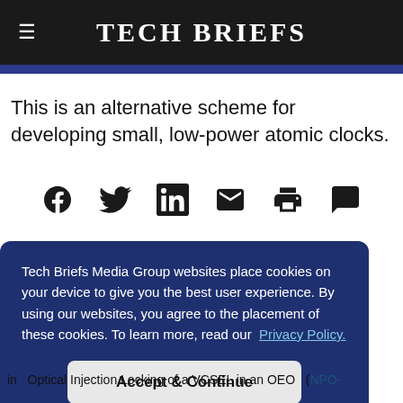Tech Briefs
This is an alternative scheme for developing small, low-power atomic clocks.
[Figure (other): Social media sharing icons: Facebook, Twitter, LinkedIn, Email, Print, Comment]
Tech Briefs Media Group websites place cookies on your device to give you the best user experience. By using our websites, you agree to the placement of these cookies. To learn more, read our Privacy Policy.
Accept & Continue
to be emitted s an electronic based on ance. described
in  Optical Injection Locking of a VCSEL in an OEO  (NPO-